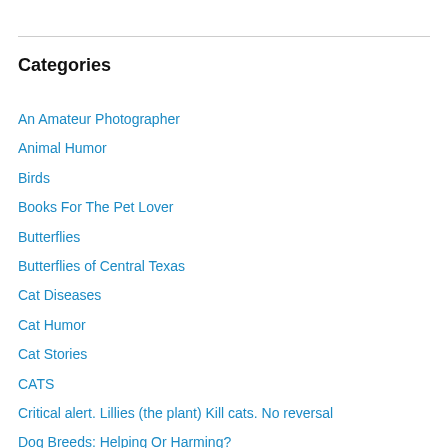Categories
An Amateur Photographer
Animal Humor
Birds
Books For The Pet Lover
Butterflies
Butterflies of Central Texas
Cat Diseases
Cat Humor
Cat Stories
CATS
Critical alert. Lillies (the plant) Kill cats. No reversal
Dog Breeds: Helping Or Harming?
Dog Diseases
Dog Humor
Dog Photos (1)
Dog Poetry